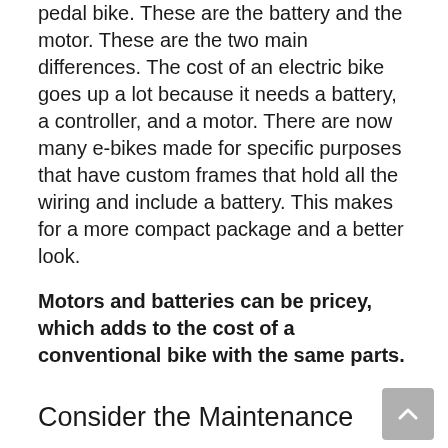pedal bike. These are the battery and the motor. These are the two main differences. The cost of an electric bike goes up a lot because it needs a battery, a controller, and a motor. There are now many e-bikes made for specific purposes that have custom frames that hold all the wiring and include a battery. This makes for a more compact package and a better look.
Motors and batteries can be pricey, which adds to the cost of a conventional bike with the same parts.
Consider the Maintenance